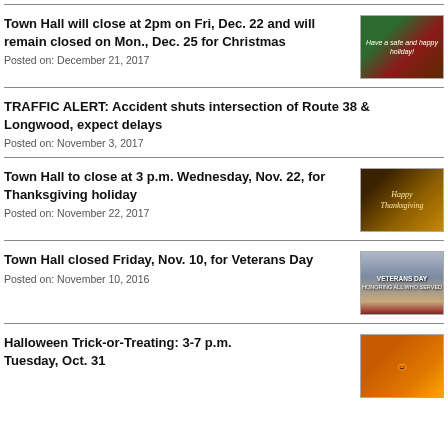Town Hall will close at 2pm on Fri, Dec. 22 and will remain closed on Mon., Dec. 25 for Christmas
Posted on: December 21, 2017
[Figure (photo): Holiday greeting image with Christmas decorations, pine cones, and text 'Have a safe and happy holiday!']
TRAFFIC ALERT: Accident shuts intersection of Route 38 & Longwood, expect delays
Posted on: November 3, 2017
Town Hall to close at 3 p.m. Wednesday, Nov. 22, for Thanksgiving holiday
Posted on: November 22, 2017
[Figure (photo): Thanksgiving themed image with harvest decorations and text 'Thanksgiving']
Town Hall closed Friday, Nov. 10, for Veterans Day
Posted on: November 10, 2016
[Figure (photo): Veterans Day image with American flag and text 'VETERANS DAY Honoring All Who Served']
Halloween Trick-or-Treating: 3-7 p.m. Tuesday, Oct. 31
[Figure (photo): Halloween themed image with candy bucket]